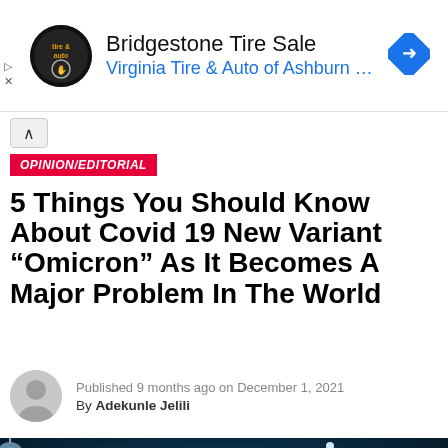[Figure (other): Bridgestone Tire Sale advertisement banner with Virginia Tire & Auto of Ashburn logo and navigation arrow icon]
OPINION/EDITORIAL
5 Things You Should Know About Covid 19 New Variant “Omicron” As It Becomes A Major Problem In The World
Published 9 months ago on December 1, 2021
By Adekunle Jelili
[Figure (photo): Dark blue background with 3D rendered coronavirus particles/molecules floating in the foreground]